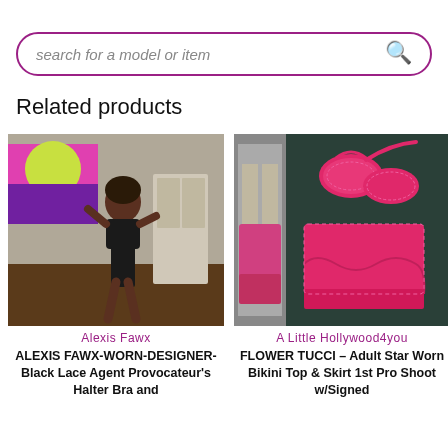[Figure (screenshot): Search bar with purple border and magnifying glass icon, placeholder text 'search for a model or item']
Related products
[Figure (photo): Photo of Alexis Fawx in black lace lingerie]
Alexis Fawx
ALEXIS FAWX-WORN-DESIGNER-Black Lace Agent Provocateur's Halter Bra and
[Figure (photo): Photo of pink/hot pink lace bikini top and skirt on dark background with a second partial image]
A Little Hollywood4you
FLOWER TUCCI – Adult Star Worn Bikini Top & Skirt 1st Pro Shoot w/Signed